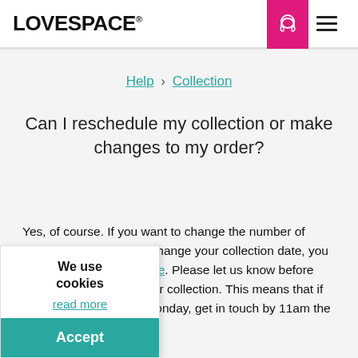LOVESPACE®
Help › Collection
Can I reschedule my collection or make changes to my order?
Yes, of course. If you want to change the number of boxes you're storing or change your collection date, you can do so by clicking here. Please let us know before 11am the day before your collection. This means that if your collection is on a Monday, get in touch by 11am the Friday before.

If you change or cancel your collection date after 11am the day before, there'll be a charge of £20, as we'll
We use cookies
read more
Accept